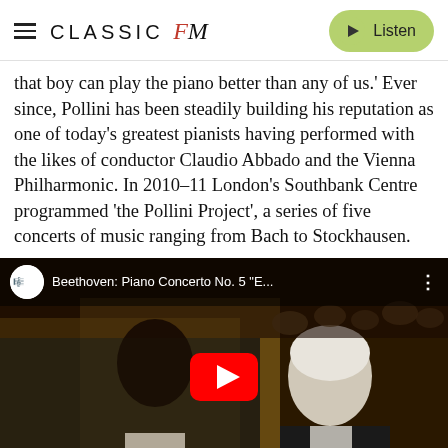CLASSIC fM — Listen
that boy can play the piano better than any of us.' Ever since, Pollini has been steadily building his reputation as one of today's greatest pianists having performed with the likes of conductor Claudio Abbado and the Vienna Philharmonic. In 2010-11 London's Southbank Centre programmed 'the Pollini Project', a series of five concerts of music ranging from Bach to Stockhausen.
[Figure (screenshot): Embedded YouTube video thumbnail showing two men in formal attire, one younger with dark hair and one older with white hair, in what appears to be a concert hall. The video title reads 'Beethoven: Piano Concerto No. 5 "E...' with the YouTube play button overlaid in the center.]